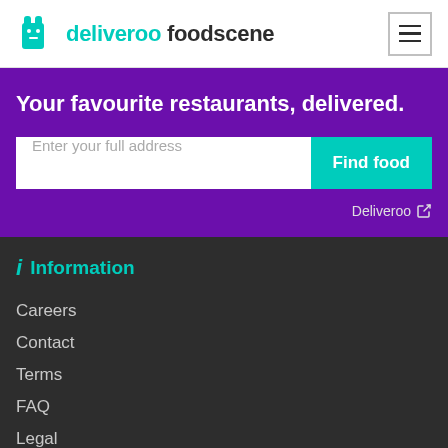deliveroo foodscene
Your favourite restaurants, delivered.
Enter your full address | Find food
Deliveroo ↗
ℹ Information
Careers
Contact
Terms
FAQ
Legal
Privacy
Inspiration